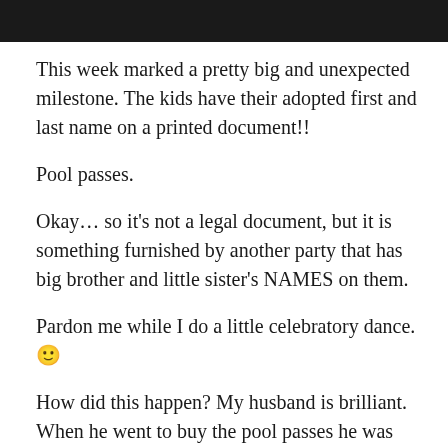[Figure (photo): Dark/black bar at top of page, partial photo of an object against dark background]
This week marked a pretty big and unexpected milestone.  The kids have their adopted first and last name on a printed document!!
Pool passes.
Okay… so it's not a legal document, but it is something furnished by another party that has big brother and little sister's NAMES on them.
Pardon me while I do a little celebratory dance. 🙂
How did this happen?  My husband is brilliant.  When he went to buy the pool passes he was asked for a headshot of each family member to print individual pool passes.  He didn't have a headshot for the kids or me so he paid for the family pass, got